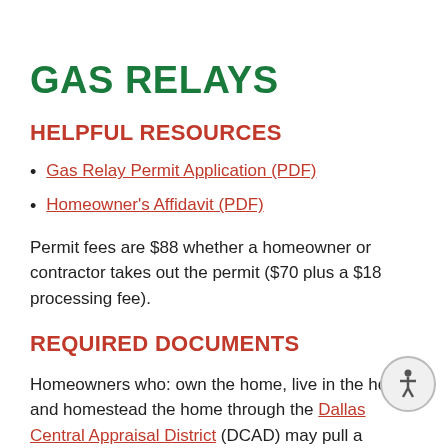GAS RELAYS
HELPFUL RESOURCES
Gas Relay Permit Application (PDF)
Homeowner's Affidavit (PDF)
Permit fees are $88 whether a homeowner or contractor takes out the permit ($70 plus a $18 processing fee).
REQUIRED DOCUMENTS
Homeowners who: own the home, live in the home, and homestead the home through the Dallas Central Appraisal District (DCAD) may pull a Homeowner's Affidavit and complete the repairs themselves if they feel confident in making the required repairs. Homeowners must provide a